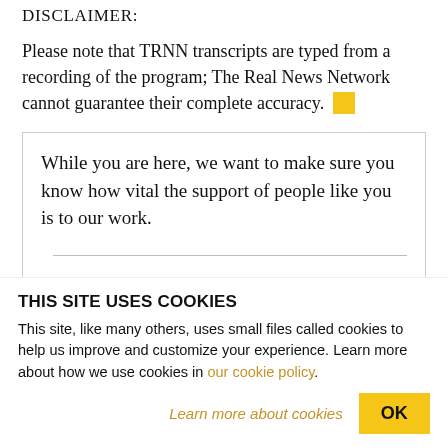DISCLAIMER:
Please note that TRNN transcripts are typed from a recording of the program; The Real News Network cannot guarantee their complete accuracy.
While you are here, we want to make sure you know how vital the support of people like you is to our work.
THIS SITE USES COOKIES
This site, like many others, uses small files called cookies to help us improve and customize your experience. Learn more about how we use cookies in our cookie policy.
Learn more about cookies
OK